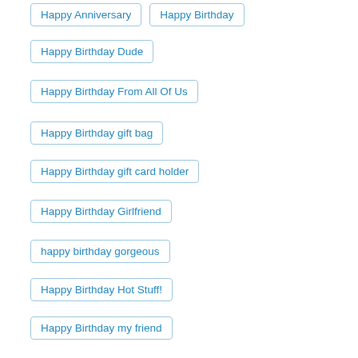Happy Anniversary
Happy Birthday
Happy Birthday Dude
Happy Birthday From All Of Us
Happy Birthday gift bag
Happy Birthday gift card holder
Happy Birthday Girlfriend
happy birthday gorgeous
Happy Birthday Hot Stuff!
Happy Birthday my friend
Happy Birthday tag card
Happy Birthday to you